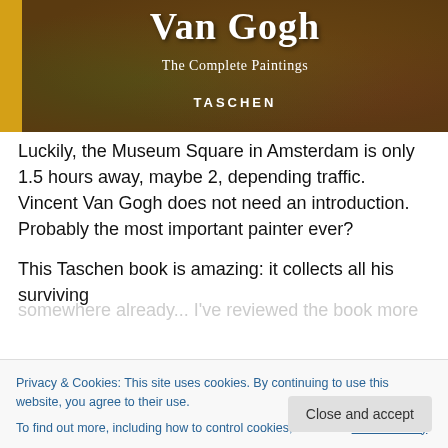[Figure (photo): Book cover of 'Van Gogh: The Complete Paintings' by TASCHEN, showing a close-up of Van Gogh's swirling brushwork in dark earthy tones with a yellow/gold spine on the left side. The title 'Van Gogh' appears in large white serif text at the top, 'The Complete Paintings' in smaller white text below, and 'TASCHEN' in white bold caps near the bottom.]
Luckily, the Museum Square in Amsterdam is only 1.5 hours away, maybe 2, depending traffic. Vincent Van Gogh does not need an introduction. Probably the most important painter ever?
This Taschen book is amazing: it collects all his surviving
Privacy & Cookies: This site uses cookies. By continuing to use this website, you agree to their use.
To find out more, including how to control cookies, see here: Cookie Policy
somewhere already... I've reviewed the book more